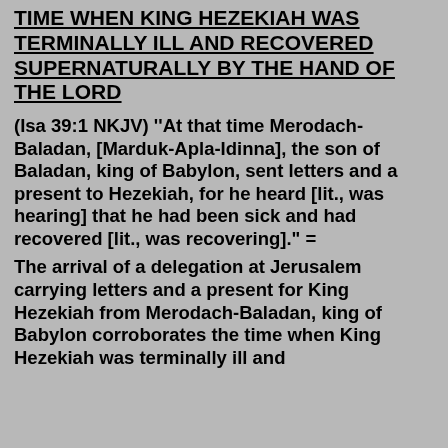TIME WHEN KING HEZEKIAH WAS TERMINALLY ILL AND RECOVERED SUPERNATURALLY BY THE HAND OF THE LORD
(Isa 39:1 NKJV) ''At that time Merodach-Baladan, [Marduk-Apla-Idinna], the son of Baladan, king of Babylon, sent letters and a present to Hezekiah, for he heard [lit., was hearing] that he had been sick and had recovered [lit., was recovering]." =
The arrival of a delegation at Jerusalem carrying letters and a present for King Hezekiah from Merodach-Baladan, king of Babylon corroborates the time when King Hezekiah was terminally ill and